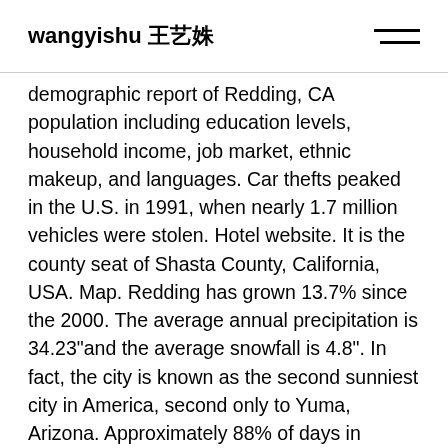wangyishu 王艺姝
demographic report of Redding, CA population including education levels, household income, job market, ethnic makeup, and languages. Car thefts peaked in the U.S. in 1991, when nearly 1.7 million vehicles were stolen. Hotel website. It is the county seat of Shasta County, California, USA. Map. Redding has grown 13.7% since the 2000. The average annual precipitation is 34.23"and the average snowfall is 4.8". In fact, the city is known as the second sunniest city in America, second only to Yuma, Arizona. Approximately 88% of days in Redding, California will be spent in sunshine